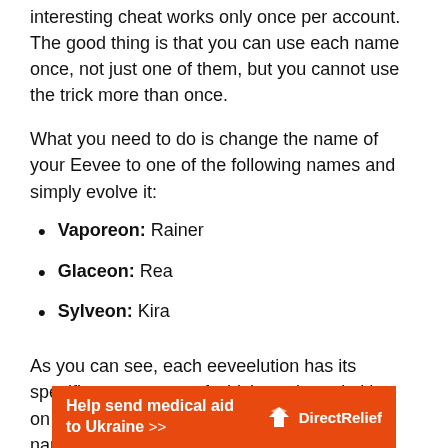interesting cheat works only once per account. The good thing is that you can use each name once, not just one of them, but you cannot use the trick more than once.
What you need to do is change the name of your Eevee to one of the following names and simply evolve it:
Vaporeon: Rainer
Glaceon: Rea
Sylveon: Kira
As you can see, each eeveelution has its specific name, most of which are based either on the anime or the core video games. The names, of course, have a symbolic
[Figure (infographic): Orange advertisement banner reading 'Help send medical aid to Ukraine >>' with DirectRelief logo on the right.]